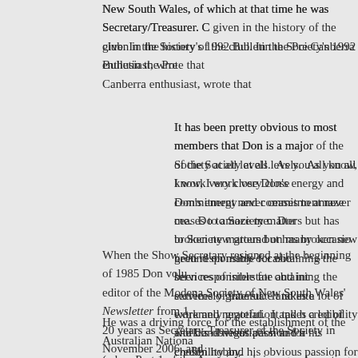New South Wales, of which at that time he was Secretary/Treasurer. C given in the history of the club. In the Society's 1992 Bulletin the Pre Canberra enthusiast, wrote that
It has been pretty obvious to most members that Don is a major of the Society at all levels.  As you all know, I work very close Don's energy and commitment never ceases to amaze me.  Do to Society matters but has broken new ground on many occasio been responsible for obtaining the services of interstate and int extremely grateful.  It takes a lot of work and negotiation and h credibility and his obvious passion for his chosen hobby.
When the Show Secretary resigned at the beginning of 1985 Don volu editor of the Modena Society of New South Wales' Newsletter from 1 20 years as Secretary-Treasurer of the Society in November 2006, and position at the Society's 2007 annual general meeting.
He was a driving force for the establishment of the Australian Nationa (when Part 1 of the Association's inaugural meeting was held in Melb President) and the Association's inaugural National Ring co-ordinator, research into current situation in Australia on matters pertaining to the (Don was  described by one enthusiast writing in the Australasian Fa